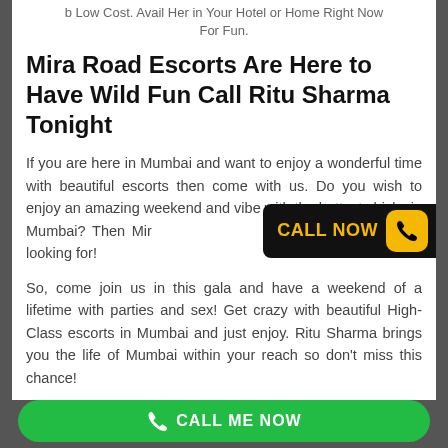b Low Cost. Avail Her in Your Hotel or Home Right Now For Fun.
Mira Road Escorts Are Here to Have Wild Fun Call Ritu Sharma Tonight
If you are here in Mumbai and want to enjoy a wonderful time with beautiful escorts then come with us. Do you wish to enjoy an amazing weekend and vibe with the hottest chicks in Mumbai? Then Mira Road Escorts are the women you are looking for!
[Figure (other): CALL NOW badge with phone icon on black background with yellow text]
So, come join us in this gala and have a weekend of a lifetime with parties and sex! Get crazy with beautiful High-Class escorts in Mumbai and just enjoy. Ritu Sharma brings you the life of Mumbai within your reach so don't miss this chance!
CALL ME NOW